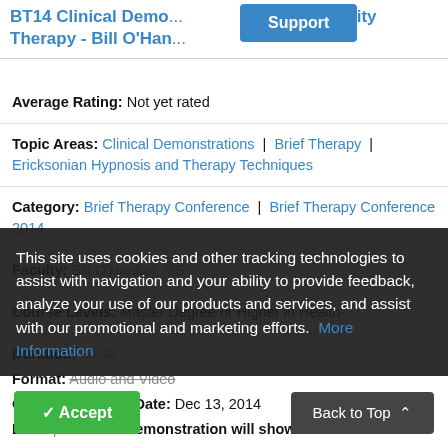BT14 Clinical Demo... Possibility Therapy - Bill O'Han...
Average Rating: Not yet rated
Topic Areas: Clinical Demonstrations | Brief Therapy | Ericksonian Hypnosis and Therapy Techniques
Category: Brief Therapy Conference | Brief Therapy Conference 2014
Faculty: Bill O'Hanlon, MS
Course Levels: Master Degree or Higher in Health-
Duration: 34:42
Format: Audio and Video
Original Program Date: Dec 13, 2014
Description: This demonstration will show
This site uses cookies and other tracking technologies to assist with navigation and your ability to provide feedback, analyze your use of our products and services, and assist with our promotional and marketing efforts. More Information
Accept
Back to Top